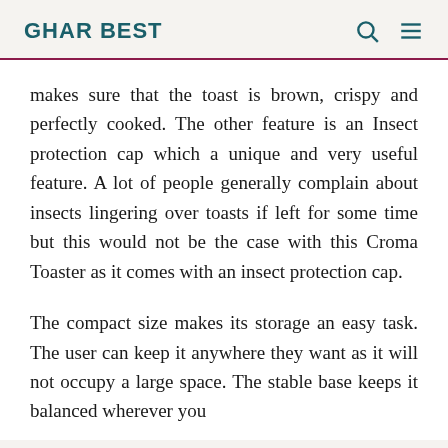GHAR BEST
makes sure that the toast is brown, crispy and perfectly cooked. The other feature is an Insect protection cap which a unique and very useful feature. A lot of people generally complain about insects lingering over toasts if left for some time but this would not be the case with this Croma Toaster as it comes with an insect protection cap.
The compact size makes its storage an easy task. The user can keep it anywhere they want as it will not occupy a large space. The stable base keeps it balanced wherever you